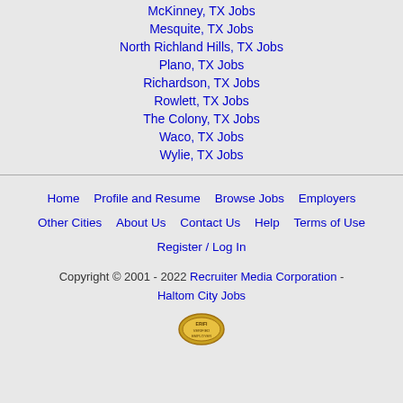McKinney, TX Jobs
Mesquite, TX Jobs
North Richland Hills, TX Jobs
Plano, TX Jobs
Richardson, TX Jobs
Rowlett, TX Jobs
The Colony, TX Jobs
Waco, TX Jobs
Wylie, TX Jobs
Home | Profile and Resume | Browse Jobs | Employers | Other Cities | About Us | Contact Us | Help | Terms of Use | Register / Log In
Copyright © 2001 - 2022 Recruiter Media Corporation - Haltom City Jobs